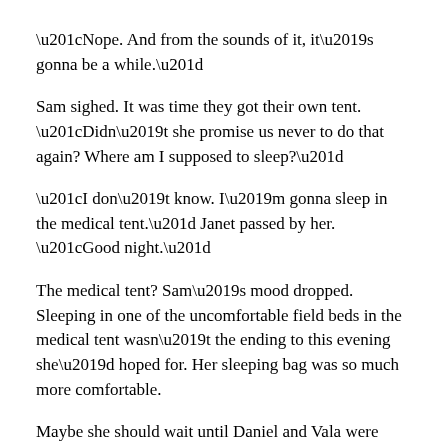“Nope. And from the sounds of it, it’s gonna be a while.”
Sam sighed. It was time they got their own tent. “Didn’t she promise us never to do that again? Where am I supposed to sleep?”
“I don’t know. I’m gonna sleep in the medical tent.” Janet passed by her. “Good night.”
The medical tent? Sam’s mood dropped. Sleeping in one of the uncomfortable field beds in the medical tent wasn’t the ending to this evening she’d hoped for. Her sleeping bag was so much more comfortable.
Maybe she should wait until Daniel and Vala were done. She flinched at the thought. Even if she waited, she didn’t wanna sleep in the same tent when they were together. And she could hardly throw them out.
With a frustrated sound, she turned. She’d take a shower first, and after a shower…